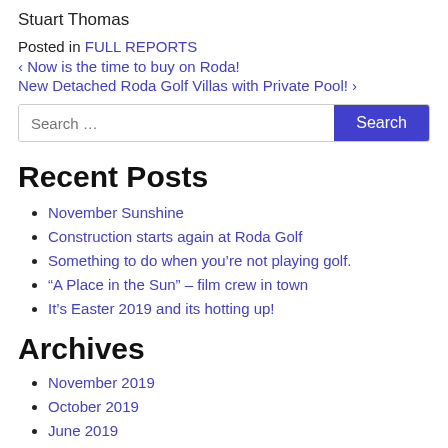Stuart Thomas
Posted in FULL REPORTS
‹ Now is the time to buy on Roda!
New Detached Roda Golf Villas with Private Pool! ›
Recent Posts
November Sunshine
Construction starts again at Roda Golf
Something to do when you're not playing golf.
“A Place in the Sun” – film crew in town
It's Easter 2019 and its hotting up!
Archives
November 2019
October 2019
June 2019
May 2019